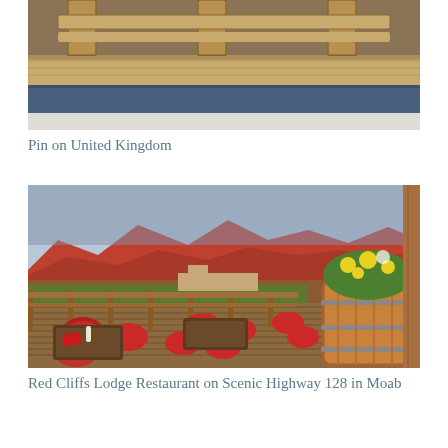[Figure (photo): Interior photo showing wooden bench/pew furniture with blue cushions, viewed from above or at angle, in what appears to be a church or dining hall setting]
Pin on United Kingdom
[Figure (photo): Outdoor patio/deck of Red Cliffs Lodge Restaurant on Scenic Highway 128 in Moab, Utah. Red chairs and wooden tables arranged on a wooden deck with a wooden barrel planter full of yellow flowers in the foreground, red rock canyon scenery and mountains in the background.]
Red Cliffs Lodge Restaurant on Scenic Highway 128 in Moab